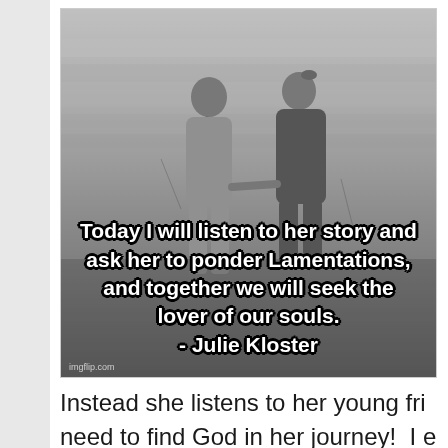[Figure (photo): Black and white photograph of two young children (seen from behind) holding hands and walking together. They appear to be girls wearing overalls/dungarees. Overlaid text quote reads: 'Today I will listen to her story and ask her to ponder Lamentations, and together we will seek the lover of our souls. - Julie Kloster'. Watermark: imgflip.com]
Instead she listens to her young fri need to find God in her journey!  I e be blessed!